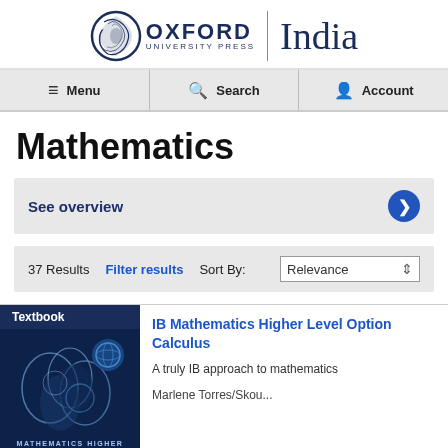[Figure (logo): Oxford University Press India logo with circular emblem, OXFORD UNIVERSITY PRESS text, vertical divider, and 'India' in serif font]
Menu | Search | Account
Mathematics
See overview
37 Results  Filter results  Sort By: Relevance
[Figure (photo): Textbook cover for IB Mathematics Higher Level Option Calculus with dark blue background and floral/mathematical pattern]
IB Mathematics Higher Level Option Calculus
A truly IB approach to mathematics
Marlene Torres/Skou...